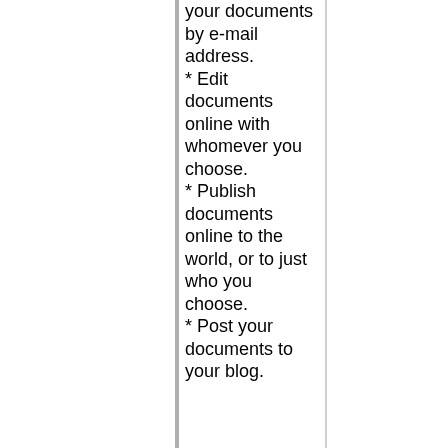your documents by e-mail address.
* Edit documents online with whomever you choose.
* Publish documents online to the world, or to just who you choose.
* Post your documents to your blog.